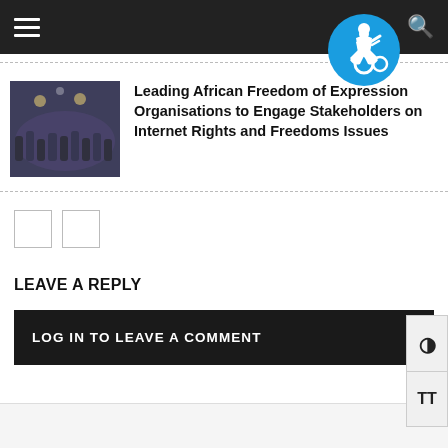[Figure (photo): Thumbnail photo showing a crowd of people at a dark/night event]
Leading African Freedom of Expression Organisations to Engage Stakeholders on Internet Rights and Freedoms Issues
[Figure (illustration): Blue circular accessibility icon (wheelchair symbol)]
LOG IN TO LEAVE A COMMENT
LEAVE A REPLY